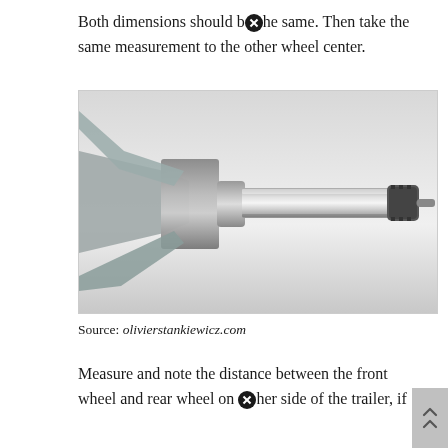Both dimensions should be the same. Then take the same measurement to the other wheel center.
[Figure (photo): Close-up photo of a trailer axle spindle/hub assembly showing a machined cylindrical shaft with flanged base on the left side, threaded end with a nut/castle nut on the right, and a flat perforated backing plate. The part is metallic silver/grey against a light background.]
Source: olivierstankiewicz.com
Measure and note the distance between the front wheel and rear wheel on either side of the trailer, if